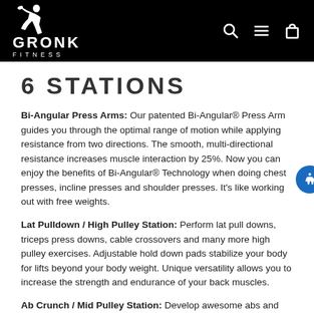Gronk Fitness
6 STATIONS
Bi-Angular Press Arms: Our patented Bi-Angular® Press Arm guides you through the optimal range of motion while applying resistance from two directions. The smooth, multi-directional resistance increases muscle interaction by 25%. Now you can enjoy the benefits of Bi-Angular® Technology when doing chest presses, incline presses and shoulder presses. It's like working out with free weights.
Lat Pulldown / High Pulley Station: Perform lat pull downs, triceps press downs, cable crossovers and many more high pulley exercises. Adjustable hold down pads stabilize your body for lifts beyond your body weight. Unique versatility allows you to increase the strength and endurance of your back muscles.
Ab Crunch / Mid Pulley Station: Developawesome abs and terrific...